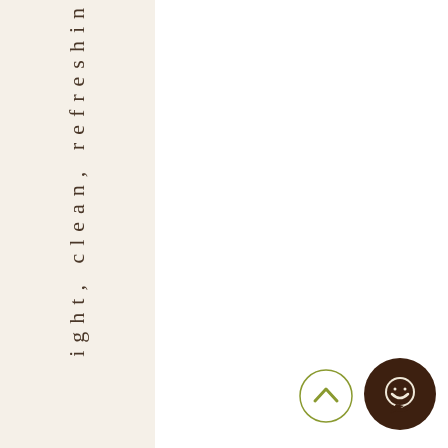ight, clean, refreshin
[Figure (other): UI navigation icons: a circular scroll-up button with a chevron arrow, and a dark brown circular chat/message button]